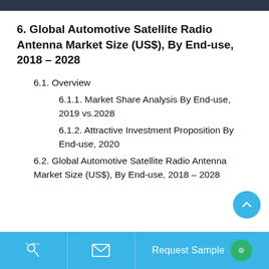6. Global Automotive Satellite Radio Antenna Market Size (US$), By End-use, 2018 – 2028
6.1. Overview
6.1.1. Market Share Analysis By End-use, 2019 vs.2028
6.1.2. Attractive Investment Proposition By End-use, 2020
6.2. Global Automotive Satellite Radio Antenna Market Size (US$), By End-use, 2018 – 2028
Request Sample